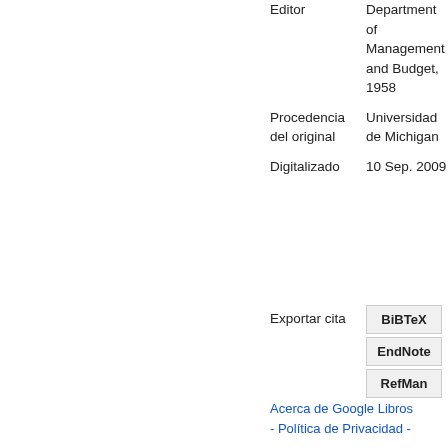| Editor | Department of Management and Budget, 1958 |
| Procedencia del original | Universidad de Michigan |
| Digitalizado | 10 Sep. 2009 |
Exportar cita
BiBTeX
EndNote
RefMan
Acerca de Google Libros
- Política de Privacidad -